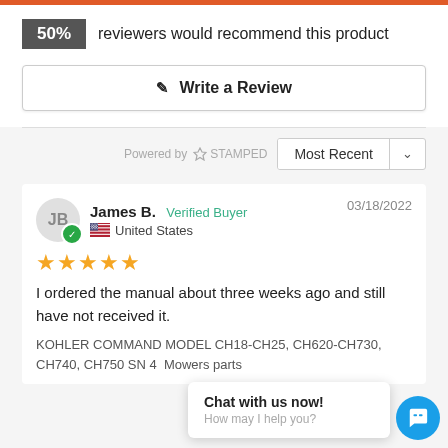50% reviewers would recommend this product
✎  Write a Review
Powered by ✦ STAMPED
Most Recent ∨
James B.  Verified Buyer  03/18/2022  United States
★★★★★
I ordered the manual about three weeks ago and still have not received it.
KOHLER COMMAND MODEL CH18-CH25, CH620-CH730, CH740, CH750 SN 4  Mowers parts
Chat with us now! How may I help you?